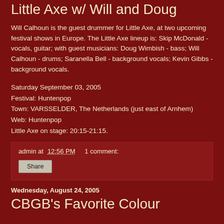Little Axe w/ Will and Doug
Will Calhoun is the guest drummer for Little Axe, at two upcoming festival shows in Europe. The Little Axe lineup is: Skip McDonald - vocals, guitar; with guest musicians: Doug Wimbish - bass; Will Calhoun - drums; Saranella Bell - background vocals; Kevin Gibbs - background vocals.
Saturday September 03, 2005
Festival: Huntenpop
Town: VARSSELDER, The Netherlands (just east of Arnhem)
Web: Huntenpop
Little Axe on stage: 20:15-21:15.
admin at 12:56 PM   1 comment:
Share
Wednesday, August 24, 2005
CBGB's Favorite Colour